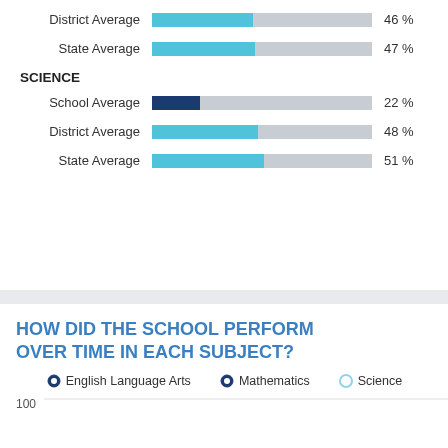[Figure (bar-chart): School Performance Bars]
SCIENCE
[Figure (line-chart): Line chart showing school performance over time for English Language Arts, Mathematics, and Science. Y-axis shows 75 and 100 visible.]